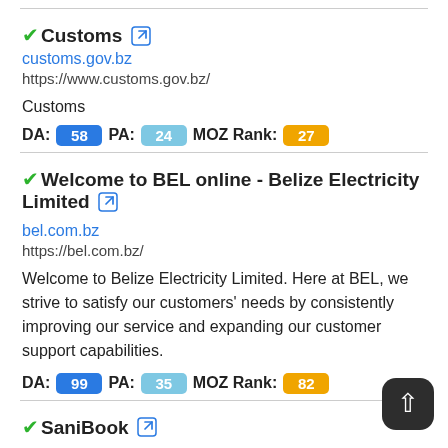✓Customs 🔗
customs.gov.bz
https://www.customs.gov.bz/
Customs
DA: 58 PA: 24 MOZ Rank: 27
✓Welcome to BEL online - Belize Electricity Limited 🔗
bel.com.bz
https://bel.com.bz/
Welcome to Belize Electricity Limited. Here at BEL, we strive to satisfy our customers' needs by consistently improving our service and expanding our customer support capabilities.
DA: 99 PA: 35 MOZ Rank: 82
✓SaniBook 🔗
civis.bz.it
https://appcuppmobile.civis.bz.it/